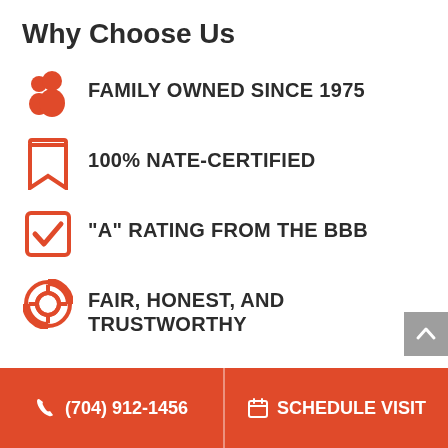Why Choose Us
FAMILY OWNED SINCE 1975
100% NATE-CERTIFIED
"A" RATING FROM THE BBB
FAIR, HONEST, AND TRUSTWORTHY
(704) 912-1456    SCHEDULE VISIT